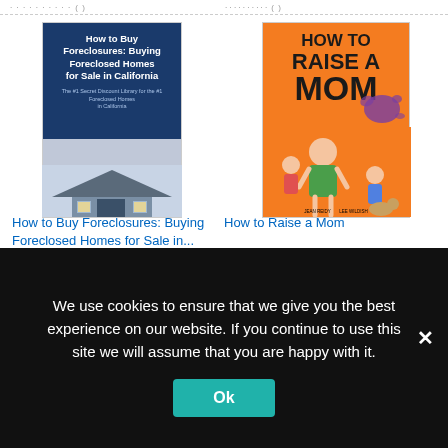[Figure (illustration): Book cover: 'How to Buy Foreclosures: Buying Foreclosed Homes for Sale in California' with a house image, dark blue background]
How to Buy Foreclosures: Buying Foreclosed Homes for Sale in...
$9.97 prime (1 review, 1 star)
[Figure (illustration): Book cover: 'How to Raise a Mom' with orange background and cartoon children illustration]
How to Raise a Mom
$10.49 $17.99 prime (1235 reviews, 4.5 stars)
Ads by Amazon
We use cookies to ensure that we give you the best experience on our website. If you continue to use this site we will assume that you are happy with it.